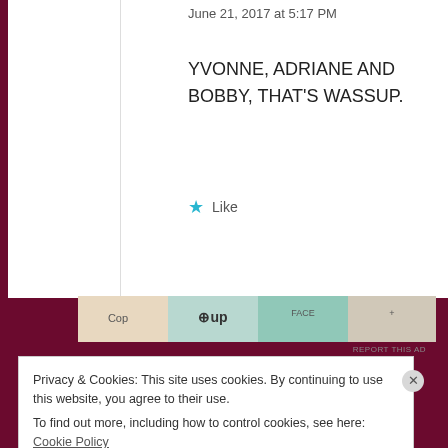June 21, 2017 at 5:17 PM
YVONNE, ADRIANE AND BOBBY, THAT'S WASSUP.
Like
[Figure (photo): Advertisement banner with product images including cosmetic/beauty products]
REPORT THIS AD
Privacy & Cookies: This site uses cookies. By continuing to use this website, you agree to their use. To find out more, including how to control cookies, see here: Cookie Policy
Close and accept